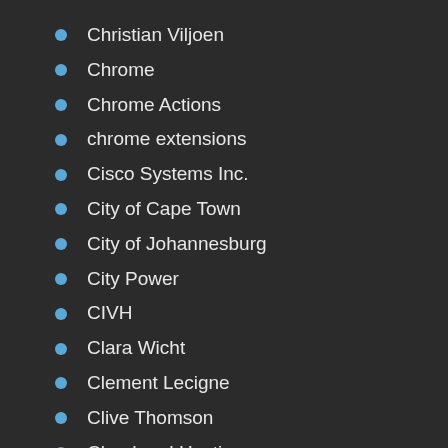Christian Viljoen
Chrome
Chrome Actions
chrome extensions
Cisco Systems Inc.
City of Cape Town
City of Johannesburg
City Power
CIVH
Clara Wicht
Clement Lecigne
Clive Thomson
Cloud and Hosting
Cloud computing